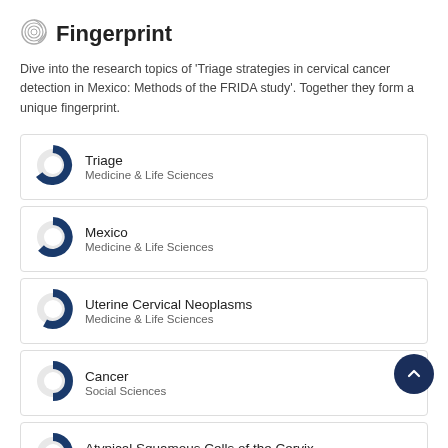Fingerprint
Dive into the research topics of 'Triage strategies in cervical cancer detection in Mexico: Methods of the FRIDA study'. Together they form a unique fingerprint.
Triage
Medicine & Life Sciences
Mexico
Medicine & Life Sciences
Uterine Cervical Neoplasms
Medicine & Life Sciences
Cancer
Social Sciences
Atypical Squamous Cells of the Cervix
Medicine & Life Sciences